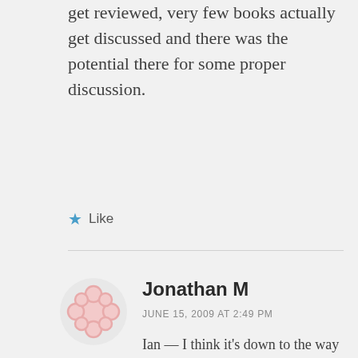get reviewed, very few books actually get discussed and there was the potential there for some proper discussion.
★ Like
Jonathan M
JUNE 15, 2009 AT 2:49 PM
Ian — I think it's down to the way online communities function. They're very good at building quite an intense sense of belonging quite quickly.
Part of the way in which people